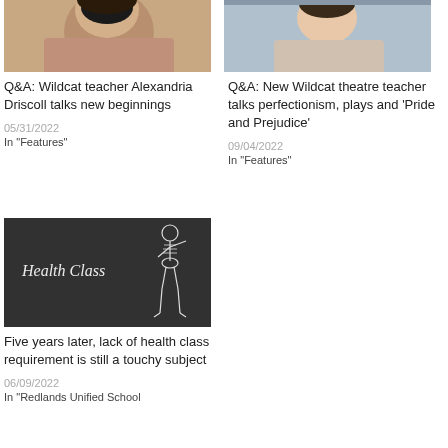[Figure (photo): Portrait photo of a woman with dark hair, Alexandria Driscoll]
Q&A: Wildcat teacher Alexandria Driscoll talks new beginnings
05/31/2022
In "Features"
[Figure (photo): Portrait photo of a woman smiling outdoors]
Q&A: New Wildcat theatre teacher talks perfectionism, plays and 'Pride and Prejudice'
09/04/2022
In "Features"
[Figure (photo): Dark chalkboard image with text 'Health Class' and a skeleton figure]
Five years later, lack of health class requirement is still a touchy subject
06/09/2022
In "Redlands Unified School